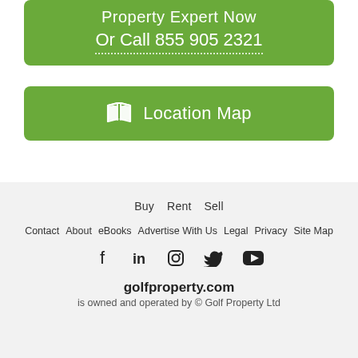Property Expert Now
Or Call 855 905 2321
[Figure (other): Location Map button with map icon]
Buy  Rent  Sell
Contact  About  eBooks  Advertise With Us  Legal  Privacy  Site Map
[social icons: Facebook, LinkedIn, Instagram, Twitter, YouTube]
golfproperty.com
is owned and operated by © Golf Property Ltd